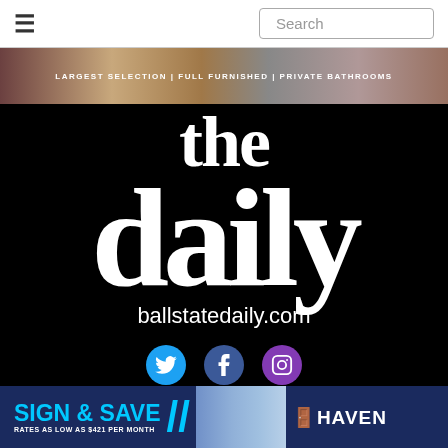≡  Search
[Figure (photo): Banner image strip with people or models, partially visible at top]
[Figure (logo): The Daily Ball State Daily logo — white text on black background reading 'the daily' in large serif font, with 'ballstatedaily.com' below. Three social media icons: Twitter (blue), Facebook (dark blue), Instagram (purple).]
ADVERTISE WITH BALL STATE DAILY
[Figure (photo): Bottom advertisement banner: 'SIGN & SAVE // HAVEN' with rates as low as $421 per month, dark navy background with cyan/white text and a photo of people.]